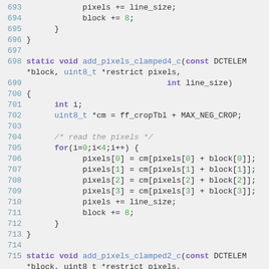[Figure (screenshot): Source code listing in C, lines 693-715, showing functions add_pixels_clamped4_c and add_pixels_clamped2_c with syntax highlighting on a light gray background]